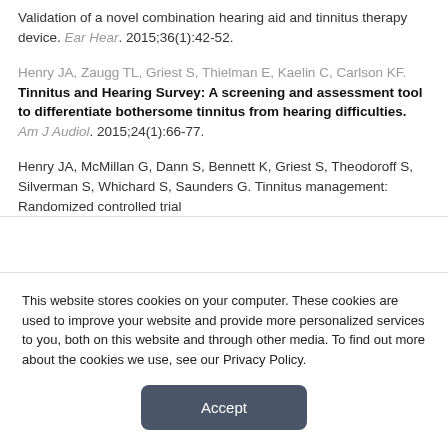Validation of a novel combination hearing aid and tinnitus therapy device. Ear Hear. 2015;36(1):42-52.
Henry JA, Zaugg TL, Griest S, Thielman E, Kaelin C, Carlson KF. Tinnitus and Hearing Survey: A screening and assessment tool to differentiate bothersome tinnitus from hearing difficulties. Am J Audiol. 2015;24(1):66-77.
Henry JA, McMillan G, Dann S, Bennett K, Griest S, Theodoroff S, Silverman S, Whichard S, Saunders G. Tinnitus management: Randomized controlled trial
This website stores cookies on your computer. These cookies are used to improve your website and provide more personalized services to you, both on this website and through other media. To find out more about the cookies we use, see our Privacy Policy.